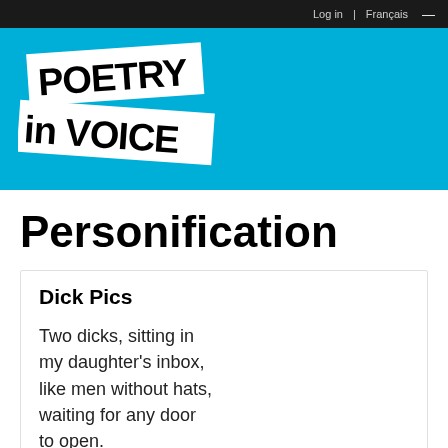Log in | Français
[Figure (logo): Poetry in Voice logo — two white banner-like shapes with bold black text 'POETRY in VOICE' on a cyan/blue background]
Personification
Dick Pics
Two dicks, sitting in my daughter's inbox, like men without hats, waiting for any door to open.